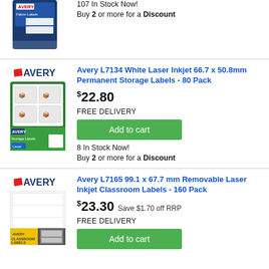[Figure (photo): Avery Fabric Labels product image (partial, top of page)]
107 In Stock Now!
Buy 2 or more for a Discount
[Figure (photo): Avery L7134 White Laser Inkjet Storage Labels product image with Avery logo]
Avery L7134 White Laser Inkjet 66.7 x 50.8mm Permanent Storage Labels - 80 Pack
$22.80
FREE DELIVERY
Add to cart
8 In Stock Now!
Buy 2 or more for a Discount
[Figure (photo): Avery L7165 Classroom Labels product image with Avery logo]
Avery L7165 99.1 x 67.7 mm Removable Laser Inkjet Classroom Labels - 160 Pack
$23.30 Save $1.70 off RRP
FREE DELIVERY
Add to cart